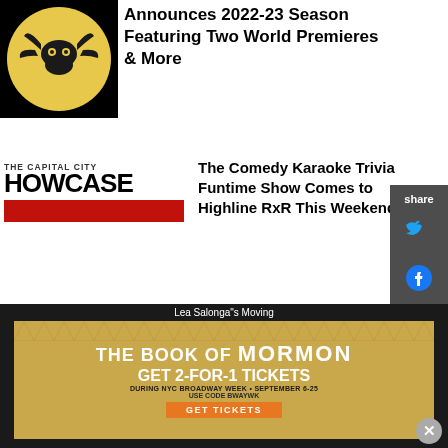[Figure (photo): Dark circular logo with bat/creature silhouette on yellow/golden background]
Announces 2022-23 Season Featuring Two World Premieres & More
[Figure (logo): The Capital City Howcase logo with red bar]
The Comedy Karaoke Trivia Funtime Show Comes to Highline RxR This Weekend
[Figure (photo): Partial image of a circular comedy-related graphic]
King Center to Present
FROM THIS AUTHOR - MICHAEL MAJOR
Lea Salonga"s Moving
[Figure (other): Advertisement for The Book of Mormon musical - GET 2-FOR-1 TICKETS DURING NYC BROADWAY WEEK • SEPTEMBER 6-25 USE CODE BWAYWK GET TICKETS]